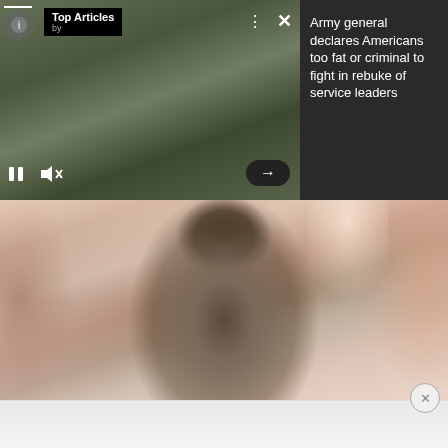[Figure (screenshot): Top Articles video player overlay showing a military officer in camouflage uniform speaking at a podium, with playback controls (pause, mute), dots menu, and X close button visible. Right panel shows dark background.]
Army general declares Americans too fat or criminal to fight in rebuke of service leaders
[Figure (photo): Close-up photo of an Army general in camouflage uniform speaking and gesturing with hands, with blurred audience members visible in foreground and background, warm light from windows behind.]
[Figure (screenshot): Partially visible bottom section of page, blurred/greyed out content with a circular close (X) button.]